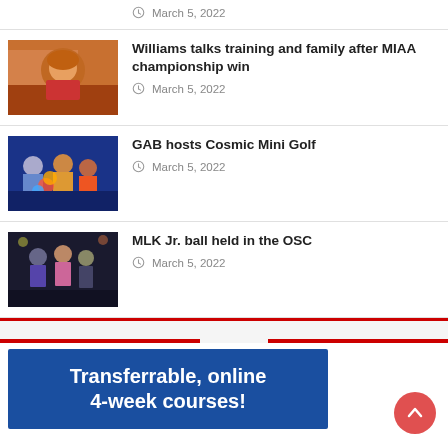March 5, 2022
Williams talks training and family after MIAA championship win
March 5, 2022
GAB hosts Cosmic Mini Golf
March 5, 2022
MLK Jr. ball held in the OSC
March 5, 2022
[Figure (infographic): Advertisement banner with blue background reading: Transferrable, online 4-week courses!]